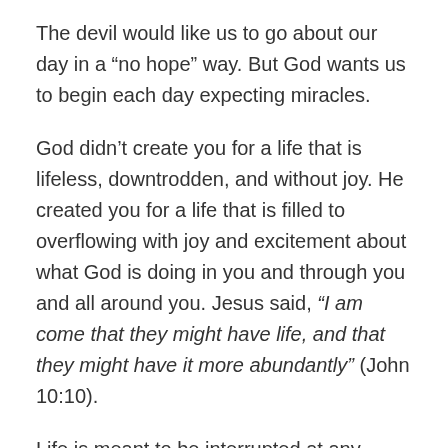The devil would like us to go about our day in a “no hope” way. But God wants us to begin each day expecting miracles.
God didn’t create you for a life that is lifeless, downtrodden, and without joy. He created you for a life that is filled to overflowing with joy and excitement about what God is doing in you and through you and all around you. Jesus said, “I am come that they might have life, and that they might have it more abundantly” (John 10:10).
Life is meant to be interrupted at any moment by God’s miraculous power. No matter where I am or who I am with, I expect — deep within me — for God to invade my life and the lives of those around me and to perform a miracle. I’m looking